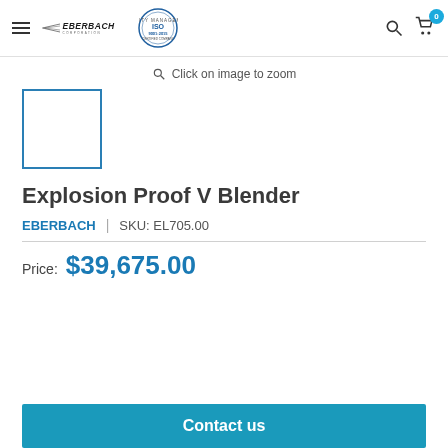Eberbach Corporation — Navigation bar with ISO 9001:2015 badge, search icon, cart icon (0 items)
Click on image to zoom
[Figure (photo): Product thumbnail placeholder — empty white box with blue border]
Explosion Proof V Blender
EBERBACH | SKU: EL705.00
Price: $39,675.00
Contact us